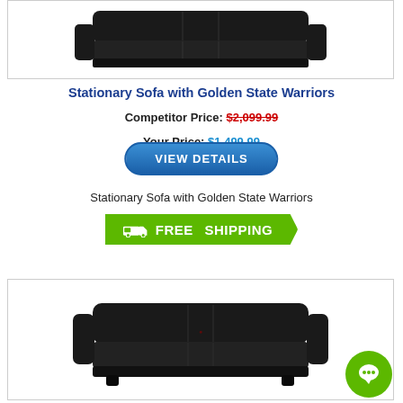[Figure (photo): Black leather stationary sofa product image, top portion visible in a bordered card]
Stationary Sofa with Golden State Warriors
Competitor Price: $2,099.99
Your Price: $1,499.99
[Figure (other): Blue 'VIEW DETAILS' button with rounded pill shape]
Stationary Sofa with Golden State Warriors
[Figure (other): Green free shipping banner with truck icon and text 'FREE SHIPPING']
[Figure (photo): Black leather stationary sofa product image in a bordered card, second product listing]
[Figure (other): Green circular chat button in bottom-right corner]